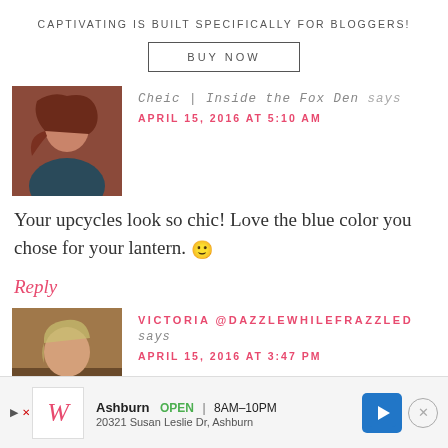CAPTIVATING IS BUILT SPECIFICALLY FOR BLOGGERS!
BUY NOW
[Figure (photo): Profile photo of a young woman with long red-brown hair, smiling, outdoors.]
Cheic | Inside the Fox Den says
APRIL 15, 2016 AT 5:10 AM
Your upcycles look so chic! Love the blue color you chose for your lantern. 🙂
Reply
[Figure (photo): Profile photo of a woman with highlighted hair, smiling, indoors.]
VICTORIA @DAZZLEWHILEFRAZZLED says
APRIL 15, 2016 AT 3:47 PM
Ashburn  OPEN  8AM–10PM  20321 Susan Leslie Dr, Ashburn